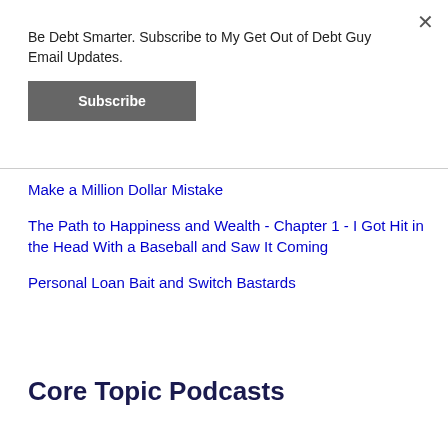Be Debt Smarter. Subscribe to My Get Out of Debt Guy Email Updates.
Subscribe
×
Make a Million Dollar Mistake
The Path to Happiness and Wealth - Chapter 1 - I Got Hit in the Head With a Baseball and Saw It Coming
Personal Loan Bait and Switch Bastards
Core Topic Podcasts